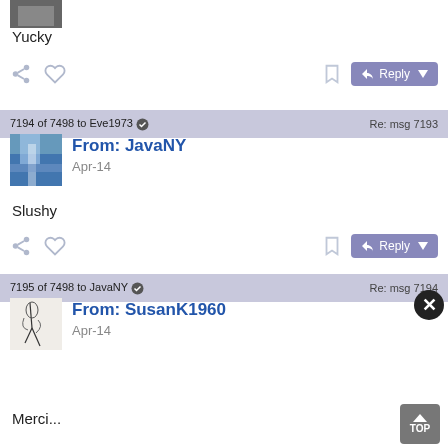[Figure (photo): Partial avatar image at top of page, cropped]
Yucky
[Figure (screenshot): Action bar with share, like, bookmark, and Reply button]
7194 of 7498 to Eve1973 ✓   Re: msg 7193
From: JavaNY
Apr-14
[Figure (photo): Waterfall avatar image for JavaNY]
Slushy
[Figure (screenshot): Action bar with share, like, bookmark, and Reply button]
7195 of 7498 to JavaNY ✓   Re: msg 7194
From: SusanK1960
Apr-14
[Figure (photo): Sketch/illustration avatar for SusanK1960]
Merci...